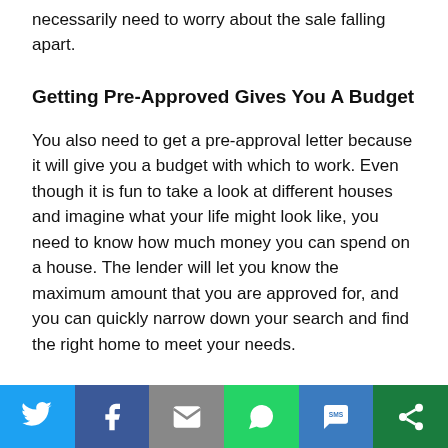necessarily need to worry about the sale falling apart.
Getting Pre-Approved Gives You A Budget
You also need to get a pre-approval letter because it will give you a budget with which to work. Even though it is fun to take a look at different houses and imagine what your life might look like, you need to know how much money you can spend on a house. The lender will let you know the maximum amount that you are approved for, and you can quickly narrow down your search and find the right home to meet your needs.
[Figure (infographic): Social media sharing bar with icons for Twitter, Facebook, Email, WhatsApp, SMS, and Share]